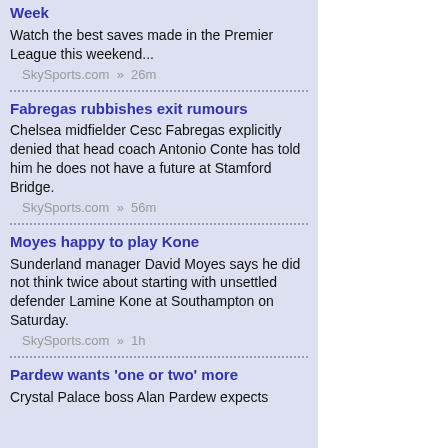Week
Watch the best saves made in the Premier League this weekend...
SkySports.com » 26m
Fabregas rubbishes exit rumours
Chelsea midfielder Cesc Fabregas explicitly denied that head coach Antonio Conte has told him he does not have a future at Stamford Bridge.
SkySports.com » 56m
Moyes happy to play Kone
Sunderland manager David Moyes says he did not think twice about starting with unsettled defender Lamine Kone at Southampton on Saturday.
SkySports.com » 1h
Pardew wants 'one or two' more
Crystal Palace boss Alan Pardew expects